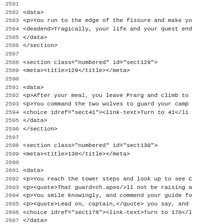Source code listing lines 2581–2612
2581
2582     <data>
2583      <p>You run to the edge of the fissure and make yo
2584      <deadend>Tragically, your life and your quest end
2585     </data>
2586     </section>
2587
2588     <section class="numbered" id="sect129">
2589      <meta><title>129</title></meta>
2590
2591      <data>
2592       <p>After your meal, you leave Prarg and climb to
2593       <p>You command the two wolves to guard your camp
2594       <choice idref="sect41"><link-text>Turn to 41</li
2595      </data>
2596     </section>
2597
2598     <section class="numbered" id="sect130">
2599      <meta><title>130</title></meta>
2600
2601      <data>
2602       <p>You reach the tower steps and look up to see C
2603       <p><quote>That guard<ch.apos/>ll not be raising a
2604       <p>You smile knowingly, and commend your guide fo
2605       <p><quote>Lead on, captain,</quote> you say, and
2606       <choice idref="sect178"><link-text>Turn to 178</l
2607      </data>
2608     </section>
2609
2610     <section class="numbered" id="sect131">
2611      <meta><title>131</title></meta>
2612